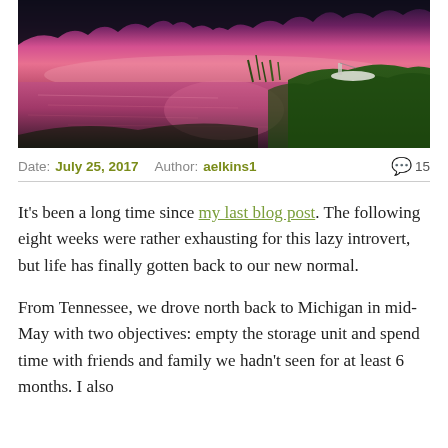[Figure (photo): Sunset or dusk photo of a lake with pink and purple sky reflected in the water, green grassy bank on the right, trees silhouetted in the background, a boat visible near the shore.]
Date: July 25, 2017   Author: aelkins1   💬 15
It's been a long time since my last blog post. The following eight weeks were rather exhausting for this lazy introvert, but life has finally gotten back to our new normal.
From Tennessee, we drove north back to Michigan in mid-May with two objectives: empty the storage unit and spend time with friends and family we hadn't seen for at least 6 months. I also